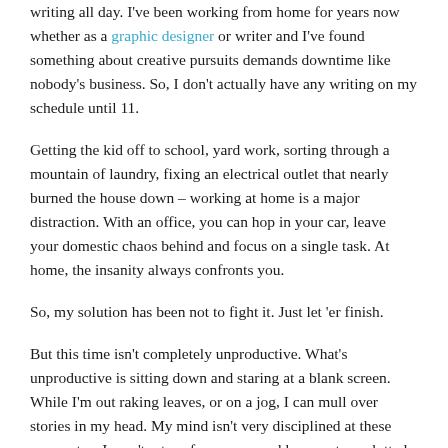writing all day. I've been working from home for years now whether as a graphic designer or writer and I've found something about creative pursuits demands downtime like nobody's business. So, I don't actually have any writing on my schedule until 11.
Getting the kid off to school, yard work, sorting through a mountain of laundry, fixing an electrical outlet that nearly burned the house down – working at home is a major distraction. With an office, you can hop in your car, leave your domestic chaos behind and focus on a single task. At home, the insanity always confronts you.
So, my solution has been not to fight it. Just let 'er finish.
But this time isn't completely unproductive. What's unproductive is sitting down and staring at a blank screen. While I'm out raking leaves, or on a jog, I can mull over stories in my head. My mind isn't very disciplined at these moments – I won't return from a run and have a story plotted out. However, it gets the creative juices flowing and sometimes sparks serious inspiration. I also do my best to schedule any appointments during this time – doctor, cable repair guy, you name it, so I have less surprise interruptions later.